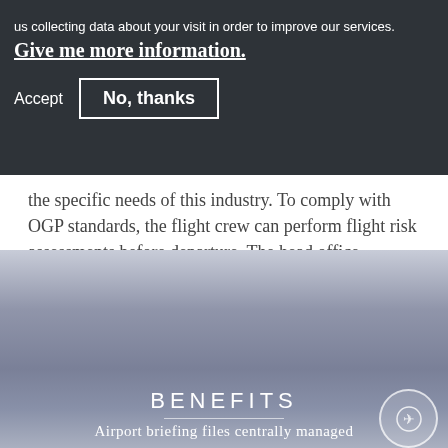us collecting data about your visit in order to improve our services. Give me more information.
Accept    No, thanks
the specific needs of this industry. To comply with OGP standards, the flight crew can perform flight risk assessments before departure. The head office receives all information in real time to ensure an effective internal risk management.
BENEFITS
Airport briefing files centrally managed